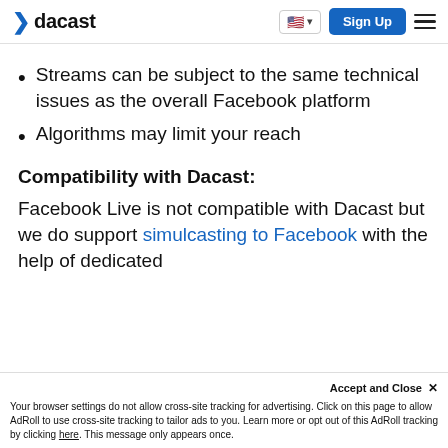dacast | Sign Up
Streams can be subject to the same technical issues as the overall Facebook platform
Algorithms may limit your reach
Compatibility with Dacast:
Facebook Live is not compatible with Dacast but we do support simulcasting to Facebook with the help of dedicated
Accept and Close ✕ Your browser settings do not allow cross-site tracking for advertising. Click on this page to allow AdRoll to use cross-site tracking to tailor ads to you. Learn more or opt out of this AdRoll tracking by clicking here. This message only appears once.